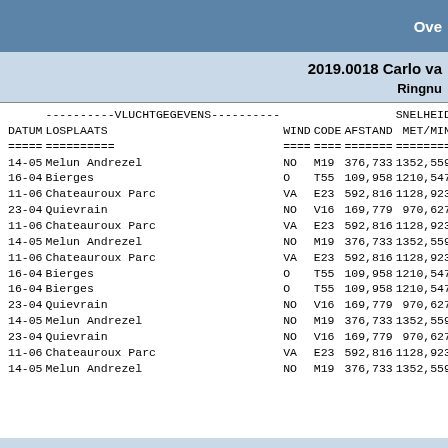Ove
2019.0018 Carlo va
Ringnu
| DATUM | LOSPLAATS | WIND | CODE | AFSTAND | SNELHEID MET/MIN |
| --- | --- | --- | --- | --- | --- |
| 14-05 | Melun Andrezel | NO | M19 | 376,733 | 1352,559 |
| 16-04 | Bierges | O | T55 | 109,958 | 1210,547 |
| 11-06 | Chateauroux Parc | VA | E23 | 592,816 | 1128,923 |
| 23-04 | Quievrain | NO | V16 | 169,779 | 970,627 |
| 11-06 | Chateauroux Parc | VA | E23 | 592,816 | 1128,923 |
| 14-05 | Melun Andrezel | NO | M19 | 376,733 | 1352,559 |
| 11-06 | Chateauroux Parc | VA | E23 | 592,816 | 1128,923 |
| 16-04 | Bierges | O | T55 | 109,958 | 1210,547 |
| 16-04 | Bierges | O | T55 | 109,958 | 1210,547 |
| 23-04 | Quievrain | NO | V16 | 169,779 | 970,627 |
| 14-05 | Melun Andrezel | NO | M19 | 376,733 | 1352,559 |
| 23-04 | Quievrain | NO | V16 | 169,779 | 970,627 |
| 11-06 | Chateauroux Parc | VA | E23 | 592,816 | 1128,923 |
| 14-05 | Melun Andrezel | NO | M19 | 376,733 | 1352,559 |